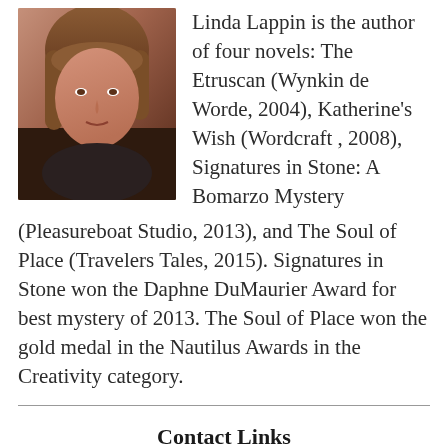[Figure (photo): Headshot photo of Linda Lappin, a woman with straight brown hair with bangs, wearing a dark top, against a warm-toned background.]
Linda Lappin is the author of four novels: The Etruscan (Wynkin de Worde, 2004), Katherine’s Wish (Wordcraft , 2008), Signatures in Stone: A Bomarzo Mystery (Pleasureboat Studio, 2013), and The Soul of Place (Travelers Tales, 2015). Signatures in Stone won the Daphne DuMaurier Award for best mystery of 2013. The Soul of Place won the gold medal in the Nautilus Awards in the Creativity category.
Contact Links
Website
Twitter